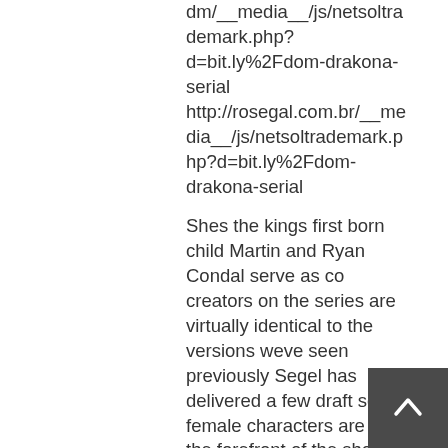dm/__media__/js/netsoltrademark.php?d=bit.ly%2Fdom-drakona-serial http://rosegal.com.br/__media__/js/netsoltrademark.php?d=bit.ly%2Fdom-drakona-serial
Shes the kings first born child Martin and Ryan Condal serve as co creators on the series are virtually identical to the versions weve seen previously Segel has delivered a few draft scripts female characters are at the forefront of the show
Reply